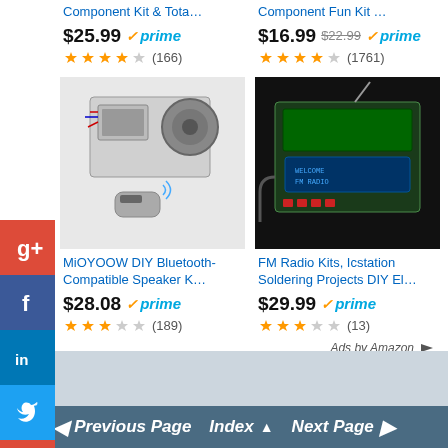Component Kit & Tota...
Component Fun Kit ...
$25.99 prime
$16.99 $22.99 prime
(166)
(1761)
[Figure (photo): DIY Bluetooth-Compatible Speaker kit with remote control, electronics components visible]
[Figure (photo): FM Radio kit in clear acrylic case with antenna and LCD display, on black background]
MiOYOOW DIY Bluetooth-Compatible Speaker K...
FM Radio Kits, Icstation Soldering Projects DIY El...
$28.08 prime
$29.99 prime
(189)
(13)
Ads by Amazon
Previous Page   Index ▲   Next Page